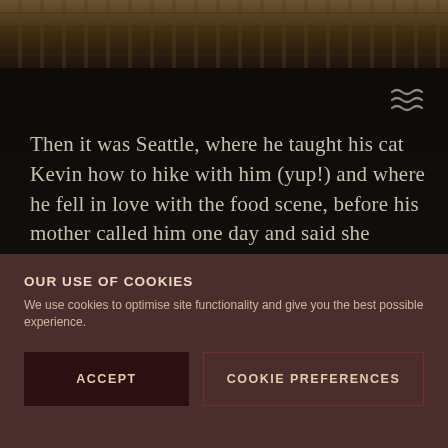[Figure (photo): Dark photo of a bar or restaurant interior, showing metal/wood furniture details with a dark brown gradient overlay]
Then it was Seattle, where he taught his cat Kevin how to hike with him (yup!) and where he fell in love with the food scene, before his mother called him one day and said she missed having her kids around. So he moved back to Connecticut, ending up here at Bruxelles to help open the bar.
By now we've devoured the drink he's presented us, which started as a mocktail on the menu before
OUR USE OF COOKIES
We use cookies to optimise site functionality and give you the best possible experience.
ACCEPT
COOKIE PREFERENCES